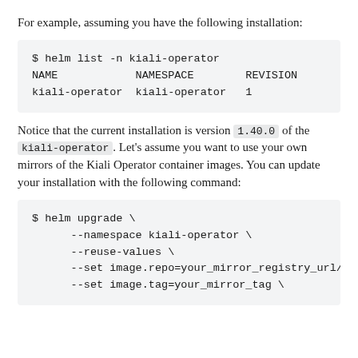For example, assuming you have the following installation:
$ helm list -n kiali-operator
NAME                NAMESPACE         REVISION
kiali-operator  kiali-operator  1
Notice that the current installation is version 1.40.0 of the kiali-operator. Let's assume you want to use your own mirrors of the Kiali Operator container images. You can update your installation with the following command:
$ helm upgrade \
        --namespace kiali-operator \
        --reuse-values \
        --set image.repo=your_mirror_registry_url/ow
        --set image.tag=your_mirror_tag \